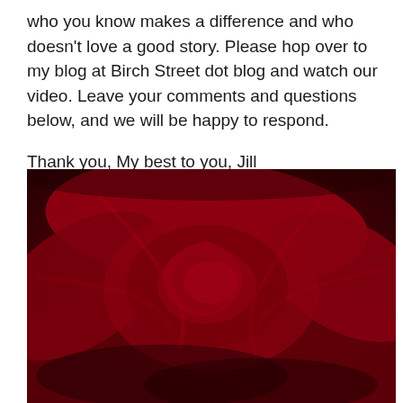who you know makes a difference and who doesn't love a good story. Please hop over to my blog at Birch Street dot blog and watch our video. Leave your comments and questions below, and we will be happy to respond.

Thank you, My best to you, Jill
[Figure (photo): Close-up macro photograph of a deep red rose, showing the velvety layered petals in rich crimson and dark red tones.]